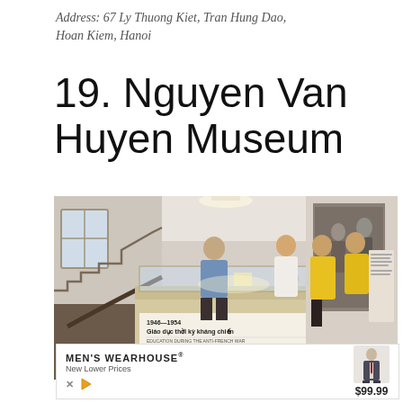Address: 67 Ly Thuong Kiet, Tran Hung Dao, Hoan Kiem, Hanoi
19. Nguyen Van Huyen Museum
[Figure (photo): Interior of Nguyen Van Huyen Museum showing visitors looking at display cases. A man in a blue shirt, a woman in white, and two women in yellow shirts stand around a glass display case. A large black-and-white historical photograph is visible on the wall. Stairs are visible on the left. A exhibit panel reads '1946-1954 Giao duc thoi ky khang chien' (Education during the resistance period).]
[Figure (other): Advertisement for Men's Wearhouse with 'New Lower Prices' and price $99.99, showing a man in a suit. Includes close/dismiss and play icons.]